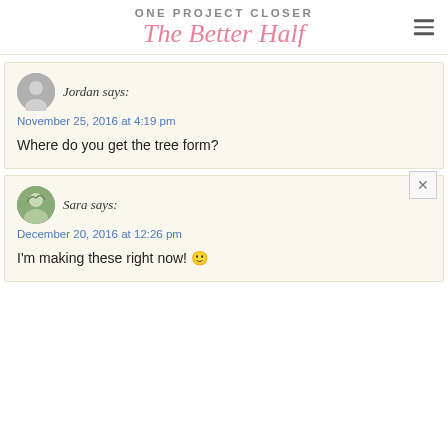ONE PROJECT CLOSER The Better Half
Jordan says:
November 25, 2016 at 4:19 pm

Where do you get the tree form?
Sara says:
December 20, 2016 at 12:26 pm

I'm making these right now! 🙂